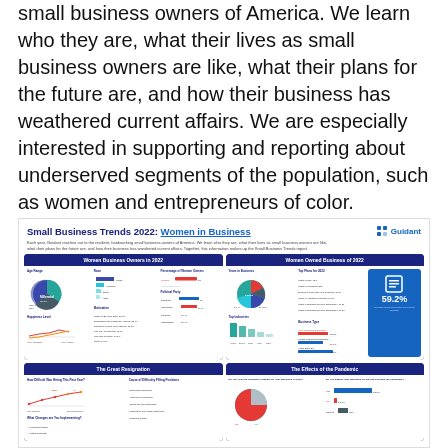small business owners of America. We learn who they are, what their lives as small business owners are like, what their plans for the future are, and how their business has weathered current affairs. We are especially interested in supporting and reporting about underserved segments of the population, such as women and entrepreneurs of color. Together, this information makes up the Small Business Trends report.
[Figure (infographic): Small Business Trends 2022: Women in Business infographic by Guidant. Contains sections on Women Business Owners in 2022 (age range pie chart, race bar chart, happiness level line chart, percentage of women owners, political party, motivation), Women Owned Business of 2022 (years in business pie chart, top plans for 2022, 59.2% stat, top industries bar chart, business type bar chart), The Great Resignation (how difficult was hiring this past year line chart, what changes are you implementing, cause of difficulty filling positions), and The Effects of the Pandemic (do you feel the pandemic's impact on your business is over pie chart, do you expect your business to survive through the pandemic bar chart).]